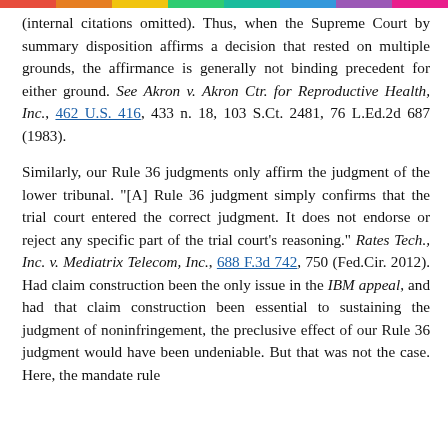(internal citations omitted). Thus, when the Supreme Court by summary disposition affirms a decision that rested on multiple grounds, the affirmance is generally not binding precedent for either ground. See Akron v. Akron Ctr. for Reproductive Health, Inc., 462 U.S. 416, 433 n. 18, 103 S.Ct. 2481, 76 L.Ed.2d 687 (1983).
Similarly, our Rule 36 judgments only affirm the judgment of the lower tribunal. "[A] Rule 36 judgment simply confirms that the trial court entered the correct judgment. It does not endorse or reject any specific part of the trial court's reasoning." Rates Tech., Inc. v. Mediatrix Telecom, Inc., 688 F.3d 742, 750 (Fed.Cir. 2012). Had claim construction been the only issue in the IBM appeal, and had that claim construction been essential to sustaining the judgment of noninfringement, the preclusive effect of our Rule 36 judgment would have been undeniable. But that was not the case. Here, the mandate rule